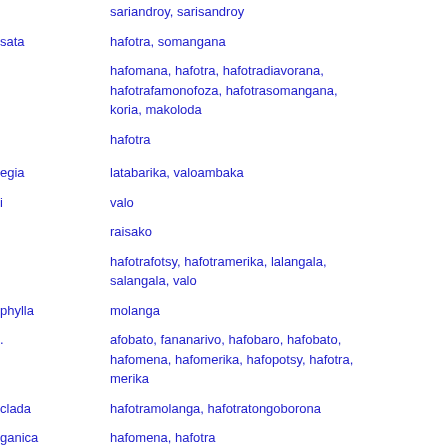sariandroy, sarisandroy
sata	hafotra, somangana
hafomana, hafotra, hafotradiavorana, hafotrafamonofoza, hafotrasomangana, koria, makoloda
hafotra
egia	latabarika, valoambaka
i	valo
raisako
hafotrafotsy, hafotramerika, lalangala, salangala, valo
phylla	molanga
afobato, fananarivo, hafobaro, hafobato, hafomena, hafomerika, hafopotsy, hafotra, merika
clada	hafotramolanga, hafotratongoborona
ganica	hafomena, hafotra
ganica	hafotrendrina